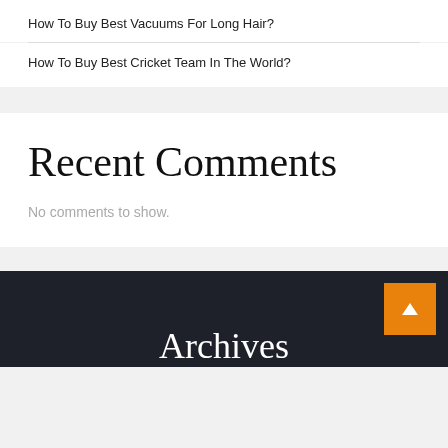How To Buy Best Vacuums For Long Hair?
How To Buy Best Cricket Team In The World?
Recent Comments
No comments to show.
Archives